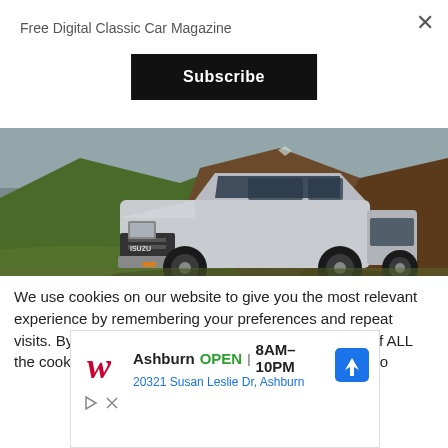Free Digital Classic Car Magazine
Subscribe
[Figure (photo): A white Isuzu SUV/pickup parked on grassy terrain with dramatic green and brown mountains in the background under a cloudy sky.]
We use cookies on our website to give you the most relevant experience by remembering your preferences and repeat visits. By clicking "Accept All", you consent to the use of ALL the cookies. However, you may visit "Cookie Settings" to
[Figure (infographic): Walgreens advertisement showing Ashburn store location with OPEN status, hours 8AM-10PM, address 20321 Susan Leslie Dr, Ashburn, and a navigation arrow icon.]